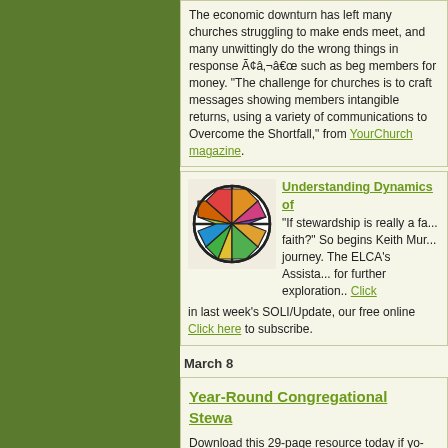The economic downturn has left many churches struggling to make ends meet, and many unwittingly do the wrong things in response Ã¢â‚¬â€œ such as beg members for money. "The challenge for churches is to craft messages showing members intangible returns, using a variety of communications to Overcome the Shortfall," from YourChurch magazine.
Understanding Dynamics of...
"If stewardship is really a fa... faith?" So begins Keith Mur... journey. The ELCA's Assista... for further exploration.. Click here in last week's SOLI/Update, our free online... Click here to subscribe.
March 8
Year-Round Congregational Stewa...
Download this 29-page resource today if yo... long, instead of just a couple months in the... job outlining how to get things going with p... for "Year-Round Congregational Stewardsh...